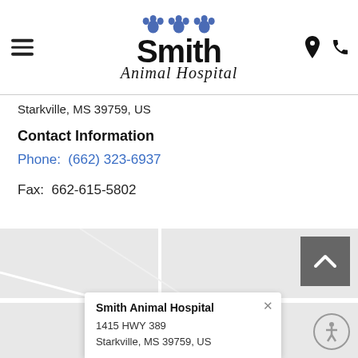Smith Animal Hospital
Starkville, MS 39759, US
Contact Information
Phone:  (662) 323-6937
Fax:  662-615-5802
[Figure (map): Google Maps view showing Smith Animal Hospital location at 1415 HWY 389, Starkville, MS 39759, US with a popup info card and scroll-to-top button]